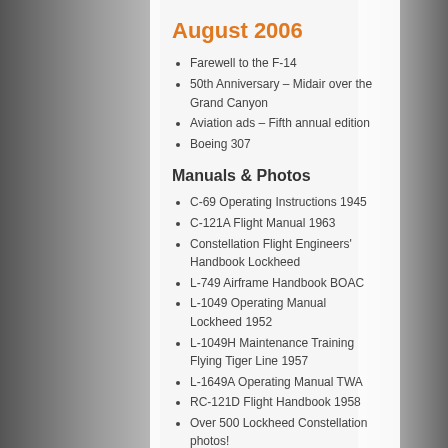August 2006
Farewell to the F-14
50th Anniversary – Midair over the Grand Canyon
Aviation ads – Fifth annual edition
Boeing 307
Manuals & Photos
C-69 Operating Instructions 1945
C-121A Flight Manual 1963
Constellation Flight Engineers' Handbook Lockheed
L-749 Airframe Handbook BOAC
L-1049 Operating Manual Lockheed 1952
L-1049H Maintenance Training Flying Tiger Line 1957
L-1649A Operating Manual TWA
RC-121D Flight Handbook 1958
Over 500 Lockheed Constellation photos!